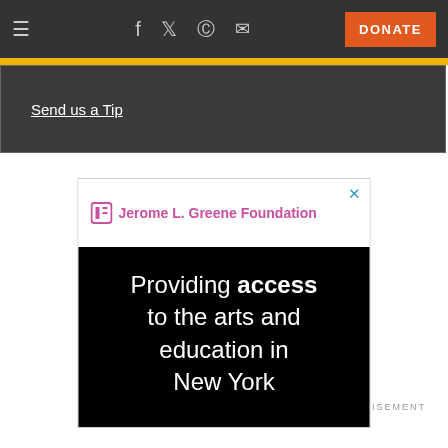≡  f  𝕏  reddit  ✉  DONATE
Send us a Tip
[Figure (screenshot): Jerome L. Greene Foundation advertisement showing 'Providing access to the arts and education in New York' on a black background with logo in pink/magenta color]
ADVERTISEMENT